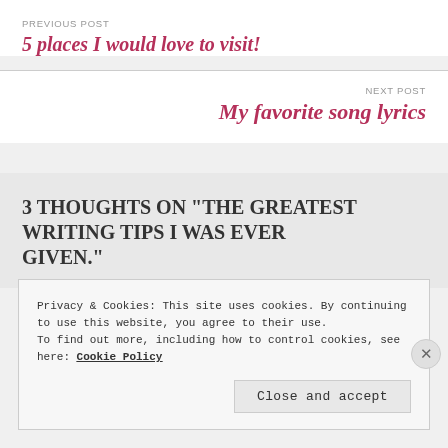PREVIOUS POST
5 places I would love to visit!
NEXT POST
My favorite song lyrics
3 THOUGHTS ON “THE GREATEST WRITING TIPS I WAS EVER GIVEN.”
Privacy & Cookies: This site uses cookies. By continuing to use this website, you agree to their use.
To find out more, including how to control cookies, see here: Cookie Policy